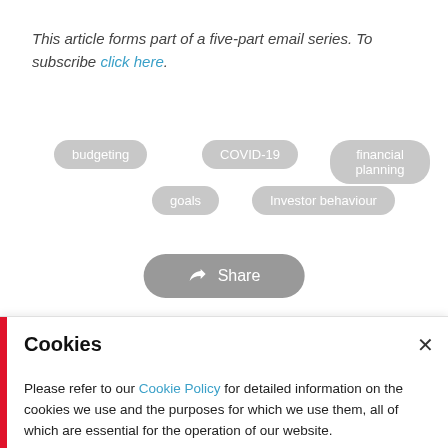This article forms part of a five-part email series. To subscribe click here.
budgeting
COVID-19
financial planning
goals
Investor behaviour
[Figure (other): Share button with share icon]
Cookies
Please refer to our Cookie Policy for detailed information on the cookies we use and the purposes for which we use them, all of which are essential for the operation of our website.